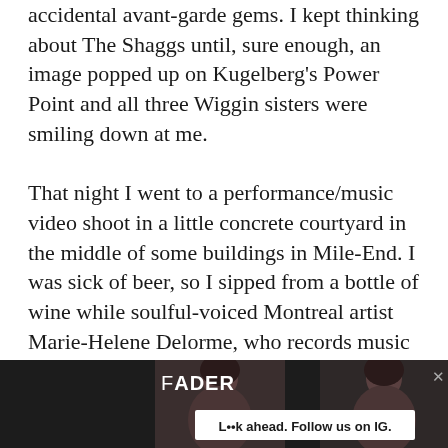accidental avant-garde gems. I kept thinking about The Shaggs until, sure enough, an image popped up on Kugelberg's Power Point and all three Wiggin sisters were smiling down at me.

That night I went to a performance/music video shoot in a little concrete courtyard in the middle of some buildings in Mile-End. I was sick of beer, so I sipped from a bottle of wine while soulful-voiced Montreal artist Marie-Helene Delorme, who records music as Foxtrott, played a handful of unreleased tracks. She used to work in audio post-production for film, which makes sense considering the sweeping, emotional directness of her electronics. I almost left early, but her moody cover of “There Is a Light That Will Never Go Out”
[Figure (other): FADER advertisement banner at bottom of page featuring two portraits of a woman, FADER logo, and tagline 'L••k ahead. Follow us on IG.' with a close button X]